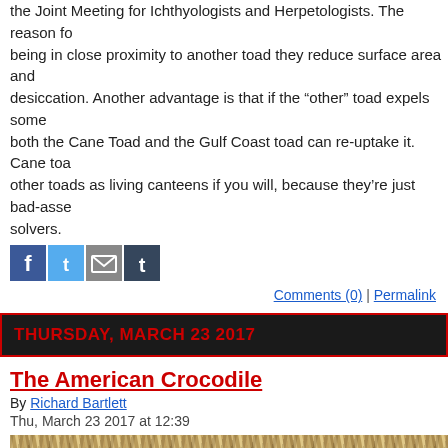the Joint Meeting for Ichthyologists and Herpetologists. The reason for being in close proximity to another toad they reduce surface area and desiccation. Another advantage is that if the “other” toad expels some both the Cane Toad and the Gulf Coast toad can re-uptake it. Cane toa other toads as living canteens if you will, because they’re just bad-asse solvers.
[Figure (other): Social sharing icons: Facebook, Twitter, Email, Tumblr]
Comments (0) | Permalink
THURSDAY, MARCH 23 2017
The American Crocodile
By Richard Bartlett
Thu, March 23 2017 at 12:39
[Figure (photo): Photograph of a crocodile camouflaged in dry brown grass/reeds]